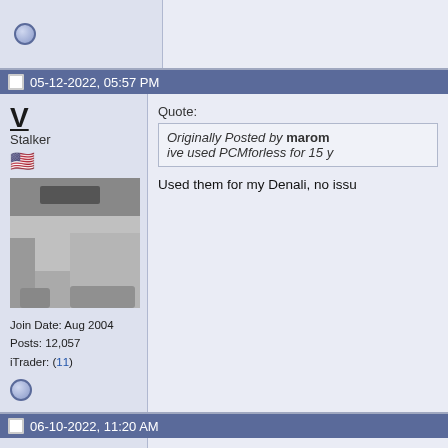[Figure (screenshot): Top bar with offline status icon on left, empty right panel]
05-12-2022, 05:57 PM
V
Stalker
[Figure (photo): Car hood/engine bay photo in grayscale]
Join Date: Aug 2004
Posts: 12,057
iTrader: (11)
Quote:
Originally Posted by marom
ive used PCMforless for 15 y
Used them for my Denali, no issu
06-10-2022, 11:20 AM
WayFast84
Went with Speed Inc and the turn
Car runs much better. Going to c
get it inspected ASAP.
[Figure (photo): Dark/black avatar image]